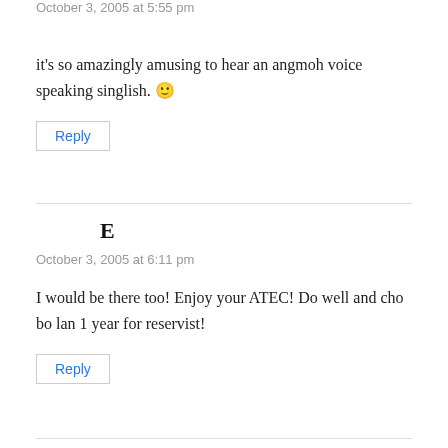October 3, 2005 at 5:55 pm
it's so amazingly amusing to hear an angmoh voice speaking singlish. 🙂
Reply
E
October 3, 2005 at 6:11 pm
I would be there too! Enjoy your ATEC! Do well and cho bo lan 1 year for reservist!
Reply